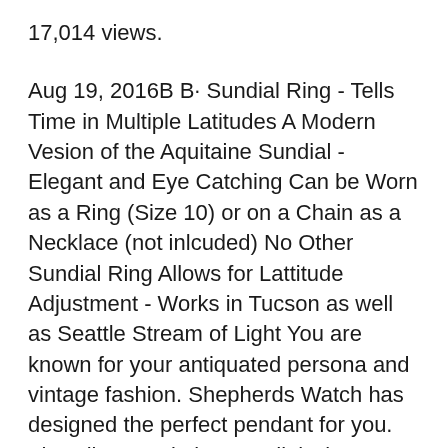17,014 views.
Aug 19, 2016B B· Sundial Ring - Tells Time in Multiple Latitudes A Modern Vesion of the Aquitaine Sundial - Elegant and Eye Catching Can be Worn as a Ring (Size 10) or on a Chain as a Necklace (not inlcuded) No Other Sundial Ring Allows for Lattitude Adjustment - Works in Tucson as well as Seattle Stream of Light You are known for your antiquated persona and vintage fashion. Shepherds Watch has designed the perfect pendant for you. The Silver Aquitaine Sundial Ring Pendant mimics historical technology to tell time.By turning the silver band to the current month and aiming the hole toward the